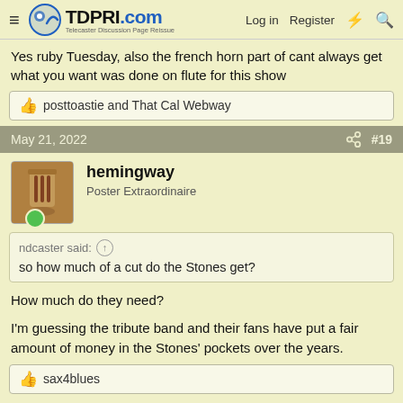TDPRI.com — Telecaster Discussion Page Reissue | Log in | Register
Yes ruby Tuesday, also the french horn part of cant always get what you want was done on flute for this show
posttoastie and That Cal Webway
May 21, 2022  #19
hemingway
Poster Extraordinaire
ndcaster said:
so how much of a cut do the Stones get?
How much do they need?

I'm guessing the tribute band and their fans have put a fair amount of money in the Stones' pockets over the years.
sax4blues